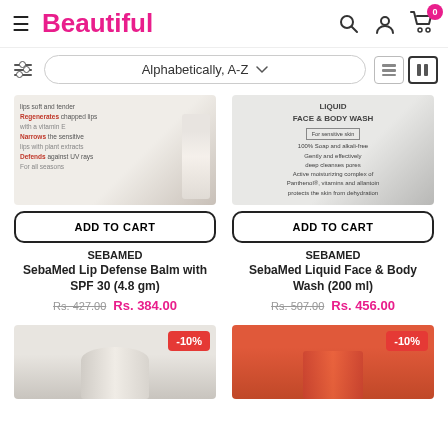[Figure (screenshot): E-commerce website header with hamburger menu, Beautiful logo in pink, search, account, and cart icons with badge showing 0]
[Figure (other): Sort/filter bar with filter icon, Alphabetically A-Z dropdown, and list/grid view toggle buttons]
[Figure (photo): SebaMed Lip Defense Balm product image showing tube with text about lip care]
ADD TO CART
SEBAMED
SebaMed Lip Defense Balm with SPF 30 (4.8 gm)
Rs. 427.00  Rs. 384.00
[Figure (photo): SebaMed Liquid Face & Body Wash product image showing bottle with text about skin care]
ADD TO CART
SEBAMED
SebaMed Liquid Face & Body Wash (200 ml)
Rs. 507.00  Rs. 456.00
[Figure (photo): Partial product image bottom left with -10% discount badge]
[Figure (photo): Partial product image bottom right with -10% discount badge]